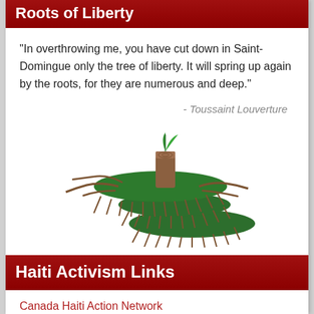Roots of Liberty
"In overthrowing me, you have cut down in Saint-Domingue only the tree of liberty. It will spring up again by the roots, for they are numerous and deep."
- Toussaint Louverture
[Figure (illustration): Illustration of a tree stump with roots spreading across layered green terrain, with a small green leaf sprouting from the stump, and brown roots hanging down from the layers.]
Haiti Activism Links
Canada Haiti Action Network